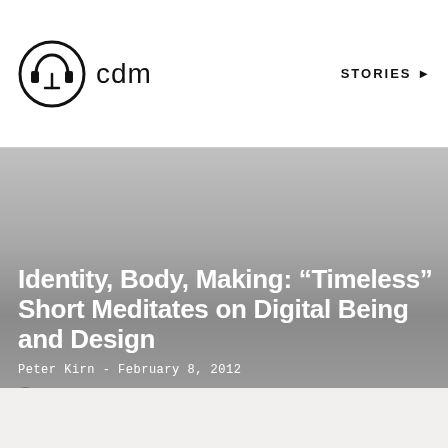[Figure (logo): CDM logo: circular icon with stylized headphone/music waveform symbol, with 'cdm' text to the right]
STORIES ▶
ARCHIVE
MOTION
MUSIC TECH
Identity, Body, Making: “Timeless” Short Meditates on Digital Being and Design
Peter Kirn - February 8, 2012
0 Comments